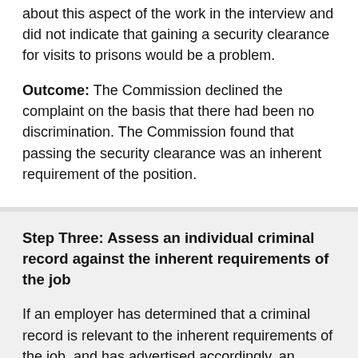about this aspect of the work in the interview and did not indicate that gaining a security clearance for visits to prisons would be a problem.
Outcome: The Commission declined the complaint on the basis that there had been no discrimination. The Commission found that passing the security clearance was an inherent requirement of the position.
Step Three: Assess an individual criminal record against the inherent requirements of the job
If an employer has determined that a criminal record is relevant to the inherent requirements of the job, and has advertised accordingly, an employer needs to assess the applications from people with a criminal record on a case by case basis.
For this section, individual assessment focuses on the nature of the crime...